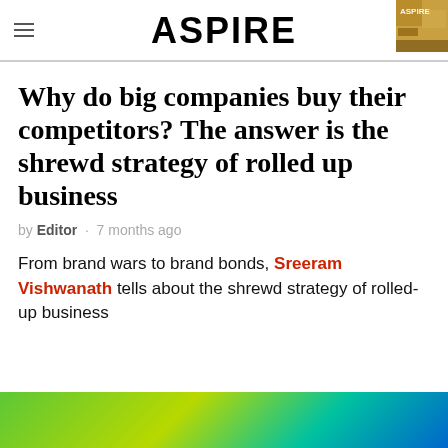ASPIRE
Why do big companies buy their competitors? The answer is the shrewd strategy of rolled up business
by Editor · 7 months ago
From brand wars to brand bonds, Sreeram Vishwanath tells about the shrewd strategy of rolled-up business
[Figure (photo): Green and teal gradient banner image at the bottom of the page]